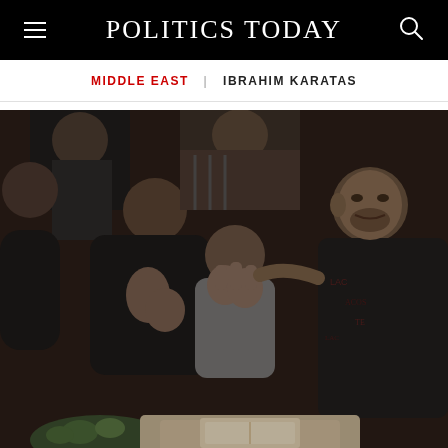POLITICS TODAY
MIDDLE EAST | IBRAHIM KARATAS
[Figure (photo): A group of grieving men and a young boy covering their faces with their hands, appearing to mourn at a funeral or similar somber gathering. The scene is emotionally charged, with subjects in casual clothing seated close together.]